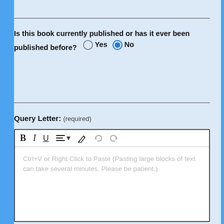Is this book currently published or has it ever been published before? Yes (unselected) No (selected)
Query Letter: (required)
[Figure (screenshot): Rich text editor toolbar with Bold (B), Italic (I), Underline (U), Align (list icon with dropdown), Pen/highlight, Undo, Redo buttons. Below toolbar is an empty text area with placeholder text: Ctrl+V or Right Click to Paste (Pasting large blocks of text can take several minutes. Please be patient.)]